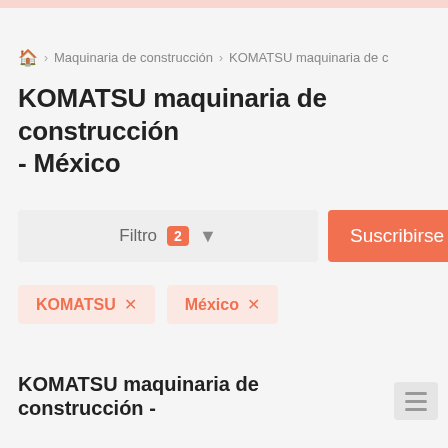🏠 > Maquinaria de construcción > KOMATSU maquinaria de c
KOMATSU maquinaria de construcción - México
Filtro 2 ▼  Suscribirse
KOMATSU ×
México ×
KOMATSU maquinaria de construcción -